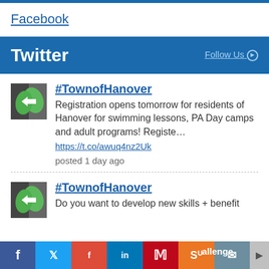Facebook
Twitter  Follow Us
#TownofHanover
Registration opens tomorrow for residents of Hanover for swimming lessons, PA Day camps and adult programs! Registe…
https://t.co/awuq4nz2Uk
posted 1 day ago
#TownofHanover
Do you want to develop new skills + benefit
[Figure (screenshot): Social media sharing bar at the bottom with Facebook, Twitter, Google+, LinkedIn, Pinterest, StumbleUpon, Email icons and a right arrow]